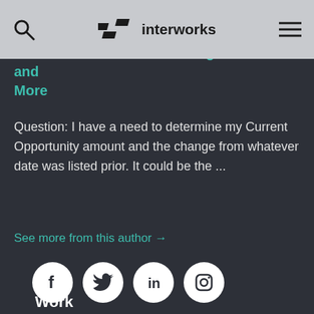interworks (nav bar with search and menu icons)
Advance with AC ISC: Finding Max Date and More
Question: I have a need to determine my Current Opportunity amount and the change from whatever date was listed prior. It could be the ...
See more from this author →
[Figure (infographic): Social media icons: Facebook, Twitter, LinkedIn, Instagram — white circles on dark background]
Work